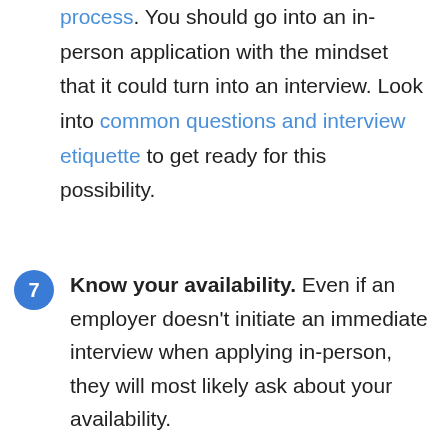process. You should go into an in-person application with the mindset that it could turn into an interview. Look into common questions and interview etiquette to get ready for this possibility.
7. Know your availability. Even if an employer doesn't initiate an immediate interview when applying in-person, they will most likely ask about your availability.